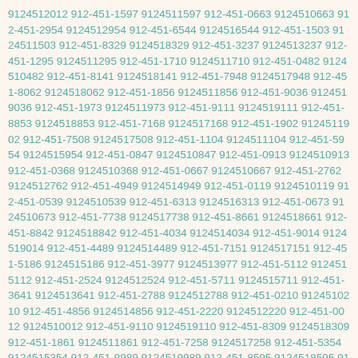9124512012 912-451-1597 9124511597 912-451-0663 9124510663 912-451-2954 9124512954 912-451-6544 9124516544 912-451-1503 9124511503 912-451-8329 9124518329 912-451-3237 9124513237 912-451-1295 9124511295 912-451-1710 9124511710 912-451-0482 9124510482 912-451-8141 9124518141 912-451-7948 9124517948 912-451-8062 9124518062 912-451-1856 9124511856 912-451-9036 9124519036 912-451-1973 9124511973 912-451-9111 9124519111 912-451-8853 9124518853 912-451-7168 9124517168 912-451-1902 9124511902 912-451-7508 9124517508 912-451-1104 9124511104 912-451-5954 9124515954 912-451-0847 9124510847 912-451-0913 9124510913 912-451-0368 9124510368 912-451-0667 9124510667 912-451-2762 9124512762 912-451-4949 9124514949 912-451-0119 9124510119 912-451-0539 9124510539 912-451-6313 9124516313 912-451-0673 9124510673 912-451-7738 9124517738 912-451-8661 9124518661 912-451-8842 9124518842 912-451-4034 9124514034 912-451-9014 9124519014 912-451-4489 9124514489 912-451-7151 9124517151 912-451-5186 9124515186 912-451-3977 9124513977 912-451-5112 9124515112 912-451-2524 9124512524 912-451-5711 9124515711 912-451-3641 9124513641 912-451-2788 9124512788 912-451-0210 9124510210 912-451-4856 9124514856 912-451-2220 9124512220 912-451-0012 9124510012 912-451-9110 9124519110 912-451-8309 9124518309 912-451-1861 9124511861 912-451-7258 9124517258 912-451-5354 9124515354 912-451-9989 9124519989 912-451-8595 9124518595 912-451-0702 9124510702 912-451-9866 9124519866 912-451-5675 9124515675 912-451-4268 9124514268 912-451-0150 9124510150 912-451-3694 9124513694 912-451-0315 9124510315 912-451-3171 9124513171 912-451-3778 9124513778